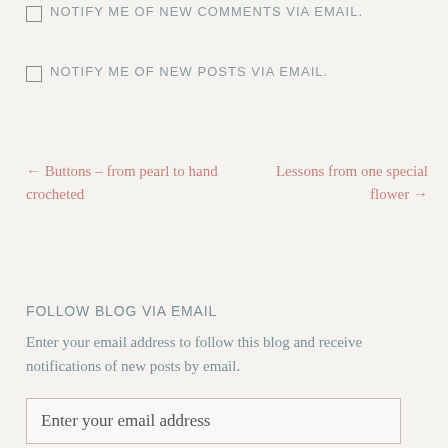NOTIFY ME OF NEW COMMENTS VIA EMAIL.
NOTIFY ME OF NEW POSTS VIA EMAIL.
← Buttons – from pearl to hand crocheted   Lessons from one special flower →
FOLLOW BLOG VIA EMAIL
Enter your email address to follow this blog and receive notifications of new posts by email.
Enter your email address